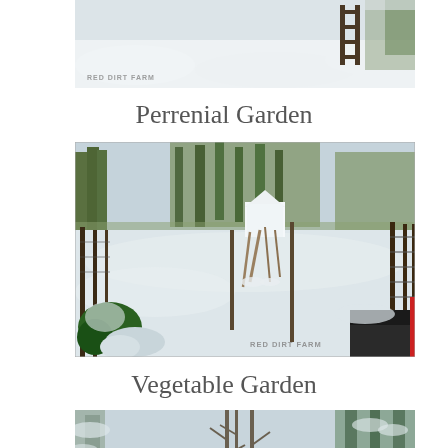[Figure (photo): Snow-covered farm scene with a gate and fence visible, with text watermark 'RED DIRT FARM' in lower left. Top portion of the image visible.]
Perrenial Garden
[Figure (photo): Snow-covered perrenial garden with fence, dead plants poking through snow, a white structure in background, trees, with text watermark 'RED DIRT FARM' in lower right.]
Vegetable Garden
[Figure (photo): Snow-covered trees and landscape, partial view of bottom photo.]